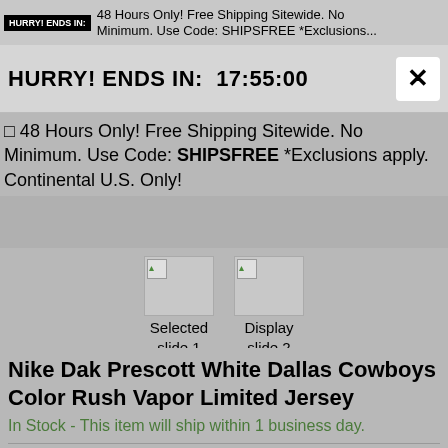HURRY! ENDS IN:  48 Hours Only! Free Shipping Sitewide. No Minimum. Use Code: SHIPSFREE *Exclusions
HURRY! ENDS IN: 17:55:00
48 Hours Only! Free Shipping Sitewide. No Minimum. Use Code: SHIPSFREE *Exclusions apply. Continental U.S. Only!
[Figure (screenshot): Two thumbnail images: Selected slide 1 of 2, Display slide 2 of 2]
Nike Dak Prescott White Dallas Cowboys Color Rush Vapor Limited Jersey
In Stock - This item will ship within 1 business day.
Your Price: $159.99